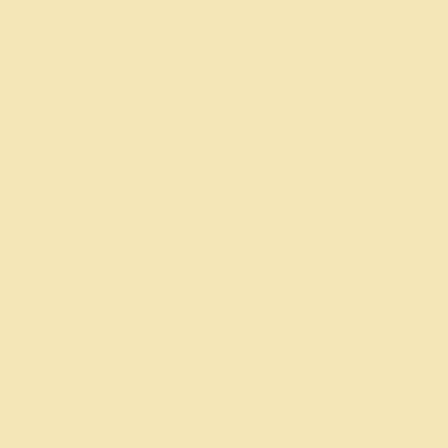* Location... all o
* Winds... susta
mph...
with gusts of 50 elevations.
* Timing... the al
damaging 55
Saturday
evening. The str
on Saturday.
* Impacts... down
from trees falling